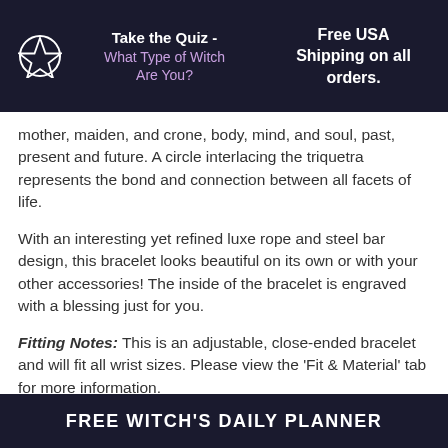Take the Quiz - What Type of Witch Are You?   Free USA Shipping on all orders.
mother, maiden, and crone, body, mind, and soul, past, present and future. A circle interlacing the triquetra represents the bond and connection between all facets of life.
With an interesting yet refined luxe rope and steel bar design, this bracelet looks beautiful on its own or with your other accessories! The inside of the bracelet is engraved with a blessing just for you.
Fitting Notes: This is an adjustable, close-ended bracelet and will fit all wrist sizes. Please view the 'Fit & Material' tab for more information.
FREE WITCH'S DAILY PLANNER